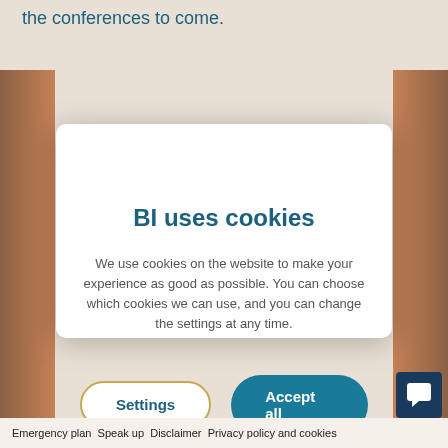the conferences to come.
[Figure (screenshot): Cookie consent modal dialog overlay on a website. White rounded rectangle modal centered on a dimly visible page background with photo edges on left and right.]
BI uses cookies
We use cookies on the website to make your experience as good as possible. You can choose which cookies we can use, and you can change the settings at any time.
Settings   Accept all
Emergency plan Speak up Disclaimer Privacy policy and cookies